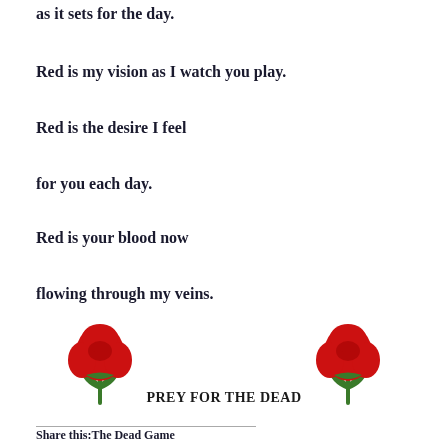as it sets for the day.
Red is my vision as I watch you play.
Red is the desire I feel
for you each day.
Red is your blood now
flowing through my veins.
[Figure (illustration): Two red rose emoji illustrations flanking the text 'PREY FOR THE DEAD']
PREY FOR THE DEAD
Share this:The Dead Game